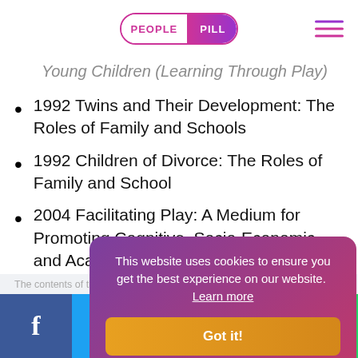PEOPLE PILL
Young Children (Learning Through Play)
1992 Twins and Their Development: The Roles of Family and Schools
1992 Children of Divorce: The Roles of Family and School
2004 Facilitating Play: A Medium for Promoting Cognitive, Socio-Economic and Academic Development
The contents of this ... 2020. The contents ...
[Figure (infographic): Cookie consent banner with gradient purple-to-pink background, text 'This website uses cookies to ensure you get the best experience on our website. Learn more', and a gold 'Got it!' button.]
f  Twitter  Reddit  in  WhatsApp social share bar